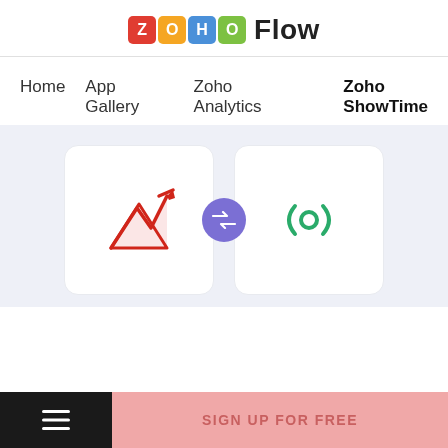Zoho Flow
Home   App Gallery   Zoho Analytics   Zoho ShowTime
[Figure (screenshot): Two app integration cards with Zoho Analytics (red area chart icon) on the left and Zoho ShowTime (green radio/signal icon) on the right, connected by a purple circle with a double-arrow swap icon in the center, on a light blue-gray background.]
SIGN UP FOR FREE